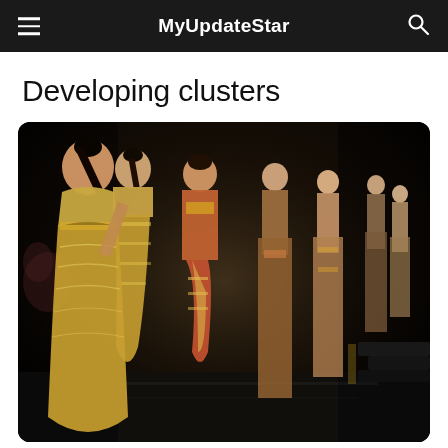MyUpdateStar
Developing clusters
[Figure (photo): Fashion runway show with multiple female models wearing traditional Indian attire including sarees and lehengas in gold, red, and earth tones, walking on a dark stage]